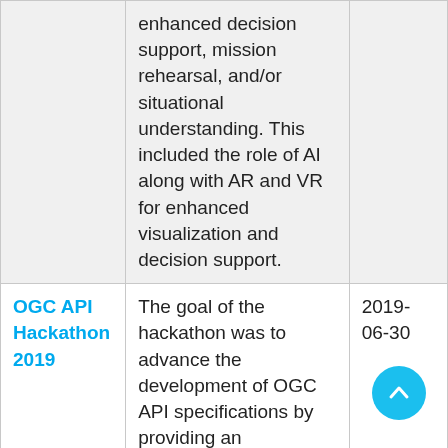|  | enhanced decision support, mission rehearsal, and/or situational understanding. This included the role of AI along with AR and VR for enhanced visualization and decision support. |  |
| OGC API Hackathon 2019 | The goal of the hackathon was to advance the development of OGC API specifications by providing an environment and opportunity for the | 2019-06-30 |